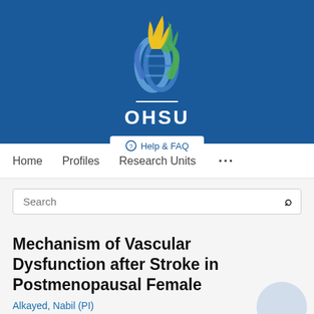[Figure (logo): OHSU (Oregon Health & Science University) logo with flame and DNA helix design on blue background, white OHSU text below]
Help & FAQ
Home   Profiles   Research Units   ...
Search
Mechanism of Vascular Dysfunction after Stroke in Postmenopausal Female
Alkayed, Nabil (PI)